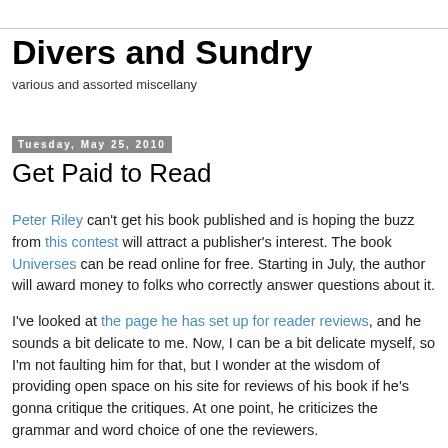Divers and Sundry
various and assorted miscellany
Tuesday, May 25, 2010
Get Paid to Read
Peter Riley can't get his book published and is hoping the buzz from this contest will attract a publisher's interest. The book Universes can be read online for free. Starting in July, the author will award money to folks who correctly answer questions about it.
I've looked at the page he has set up for reader reviews, and he sounds a bit delicate to me. Now, I can be a bit delicate myself, so I'm not faulting him for that, but I wonder at the wisdom of providing open space on his site for reviews of his book if he's gonna critique the critiques. At one point, he criticizes the grammar and word choice of one the reviewers.